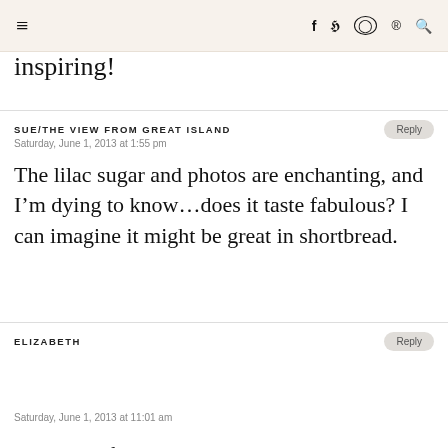≡  f  ᵗ  ⊙  ⊕  🔍
inspiring!
SUE/THE VIEW FROM GREAT ISLAND
Saturday, June 1, 2013 at 1:55 pm
The lilac sugar and photos are enchanting, and I'm dying to know…does it taste fabulous? I can imagine it might be great in shortbread.
ELIZABETH
Saturday, June 1, 2013 at 11:01 am
Just beautiful. As I stare...